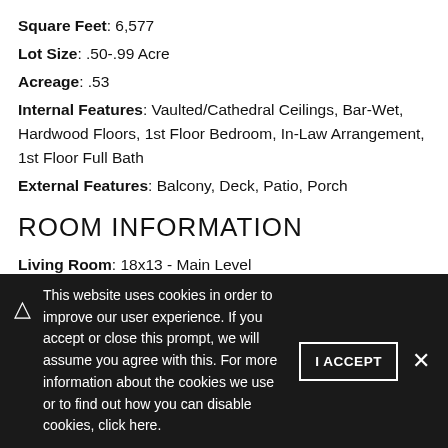Square Feet: 6,577
Lot Size: .50-.99 Acre
Acreage: .53
Internal Features: Vaulted/Cathedral Ceilings, Bar-Wet, Hardwood Floors, 1st Floor Bedroom, In-Law Arrangement, 1st Floor Full Bath
External Features: Balcony, Deck, Patio, Porch
ROOM INFORMATION
Living Room: 18x13 - Main Level
Dining Room: 17x13 - Main Level
Kitchen: 19x15 - Main Level
This website uses cookies in order to improve our user experience. If you accept or close this prompt, we will assume you agree with this. For more information about the cookies we use or to find out how you can disable cookies, click here.